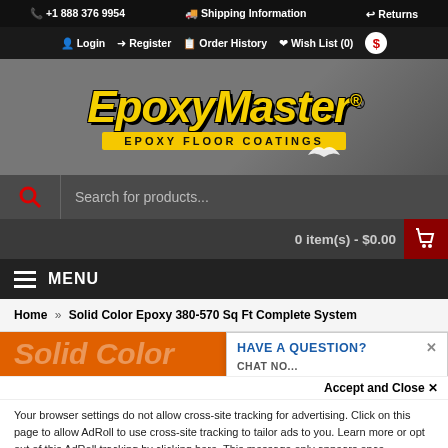+1 888 376 9954  Shipping Information  Returns
Login  Register  Order History  Wish List (0)
[Figure (logo): EpoxyMaster Epoxy Floor Coatings logo — gold italic text with black outline on gray background, yellow banner subtitle]
Search for products...
0 item(s) - $0.00
MENU
Home » Solid Color Epoxy 380-570 Sq Ft Complete System
Solid Color Epoxy 380-570 Sq Ft Complete System
HAVE A QUESTION?
CHAT NO...
Accept and Close ✕
Your browser settings do not allow cross-site tracking for advertising. Click on this page to allow AdRoll to use cross-site tracking to tailor ads to you. Learn more or opt out of this AdRoll tracking by clicking here. This message only appears once.